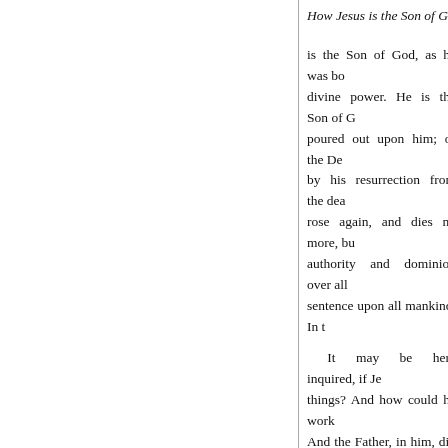How Jesus is the Son of God
is the Son of God, as he was bo divine power. He is the Son of G poured out upon him; or the De by his resurrection from the dea rose again, and dies no more, bu authority and dominion over all sentence upon all mankind. In t
It may be here inquired, if Je things? And how could he work And the Father, in him, did the abode with them here on earth, was to come into the world, the the divine mind. They believed man." Yea, our Lord himself, af expected, and judged it reasona perform miraculous works, upo And some had that faith: thoug favoured of God.
And though there are none o